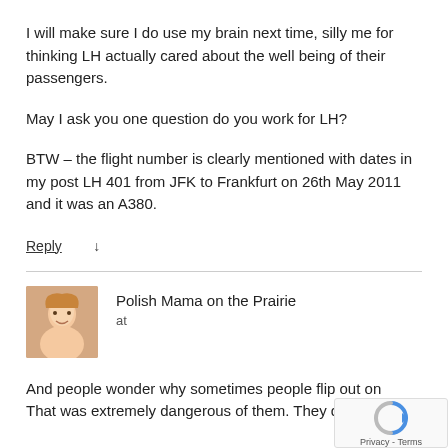I will make sure I do use my brain next time, silly me for thinking LH actually cared about the well being of their passengers.
May I ask you one question do you work for LH?
BTW – the flight number is clearly mentioned with dates in my post LH 401 from JFK to Frankfurt on 26th May 2011 and it was an A380.
Reply ↓
Polish Mama on the Prairie
at
And people wonder why sometimes people flip out on
That was extremely dangerous of them. They didn't know